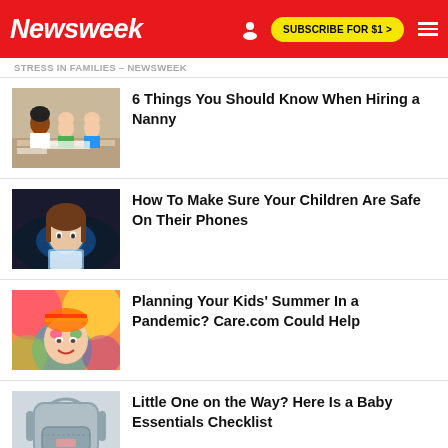Newsweek | SUBSCRIBE FOR $1 >
STRESS IN FAMILIES – NEWSWEEK
6 Things You Should Know When Hiring a Nanny
How To Make Sure Your Children Are Safe On Their Phones
Planning Your Kids' Summer In a Pandemic? Care.com Could Help
Little One on the Way? Here Is a Baby Essentials Checklist